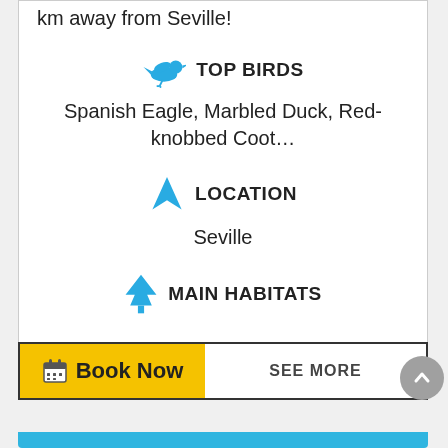km away from Seville!
TOP BIRDS
Spanish Eagle, Marbled Duck, Red-knobbed Coot…
LOCATION
Seville
MAIN HABITATS
Book Now
SEE MORE